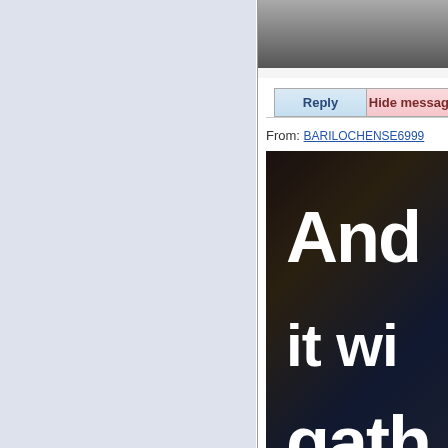[Figure (photo): Left sidebar panel with light blue-grey background]
[Figure (photo): Top right photo showing blurred outdoor scene with dark elements]
| Reply | Hide message |
| --- | --- |
From: BARILOCHENSE6999
[Figure (photo): Dark image with large white bold text reading 'And it wi gath' (partial text visible, continuation of a motivational or biblical quote)]